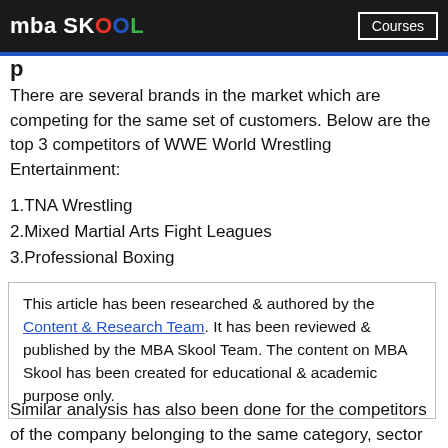mba SKOOL | Courses
There are several brands in the market which are competing for the same set of customers. Below are the top 3 competitors of WWE World Wrestling Entertainment:
1.TNA Wrestling
2.Mixed Martial Arts Fight Leagues
3.Professional Boxing
This article has been researched & authored by the Content & Research Team. It has been reviewed & published by the MBA Skool Team. The content on MBA Skool has been created for educational & academic purpose only.
Similar analysis has also been done for the competitors of the company belonging to the same category, sector or industry.